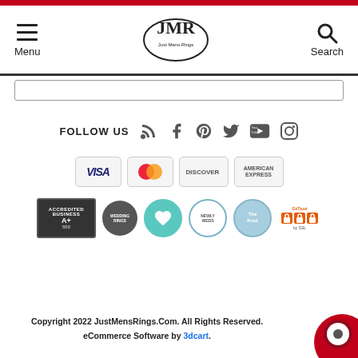Menu | JMR Just Mens Rings logo | Search
FOLLOW US (social media icons: RSS, Facebook, Pinterest, Twitter, YouTube, Instagram)
[Figure (logo): Payment method logos: Visa, Mastercard, Discover, American Express]
[Figure (logo): Trust badges: BBB Accredited Business A+, seal, heart badge, Newlyweds badge, The Knot badge, GoTrust SSL badge]
Copyright 2022 JustMensRings.Com. All Rights Reserved. eCommerce Software by 3dcart.